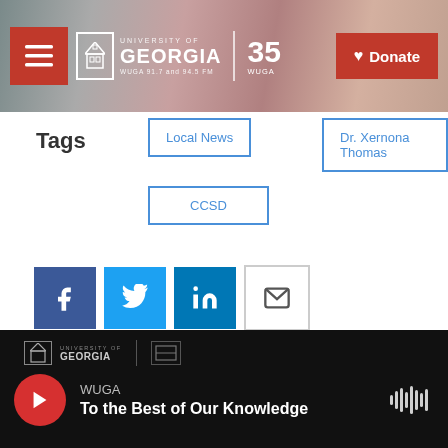[Figure (screenshot): WUGA University of Georgia radio website header with navigation, logo, 35th anniversary badge, and red Donate button over a blurred radio equipment background photo]
Tags
Local News
Dr. Xernona Thomas
CCSD
[Figure (infographic): Social share buttons: Facebook (blue f), Twitter (blue bird), LinkedIn (blue in), Email (envelope icon)]
[Figure (logo): WUGA University of Georgia footer logo with divider]
WUGA
To the Best of Our Knowledge